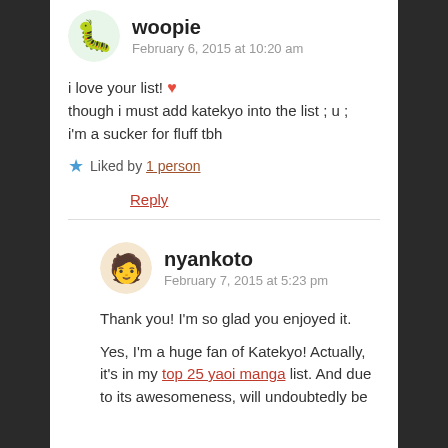woopie
February 6, 2015 at 10:20 am
i love your list! ❤ though i must add katekyo into the list ; u ; i'm a sucker for fluff tbh
★ Liked by 1 person
Reply
nyankoto
February 7, 2015 at 5:23 pm
Thank you! I'm so glad you enjoyed it.
Yes, I'm a huge fan of Katekyo! Actually, it's in my top 25 yaoi manga list. And due to its awesomeness, will undoubtedly be